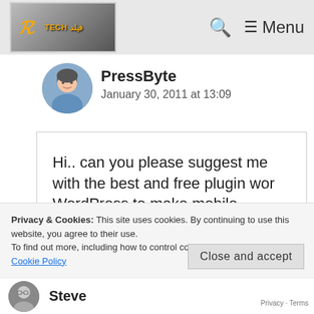TECHfield — Menu
PressByte
January 30, 2011 at 13:09
Hi.. can you please suggest me with the best and free plugin wor WordPress to make mobile version of my blog? thanks in advance. I'm a new blogger..
Privacy & Cookies: This site uses cookies. By continuing to use this website, you agree to their use.
To find out more, including how to control cookies, see here:
Cookie Policy
Close and accept
Steve
Privacy · Terms